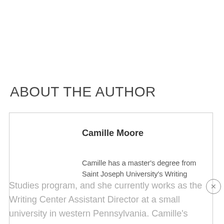ABOUT THE AUTHOR
Camille Moore
Camille has a master's degree from Saint Joseph University's Writing Studies program, and she currently works as the Writing Center Assistant Director at a small university in western Pennsylvania. Camille's writing has been published on several websites, and she enjoys writing